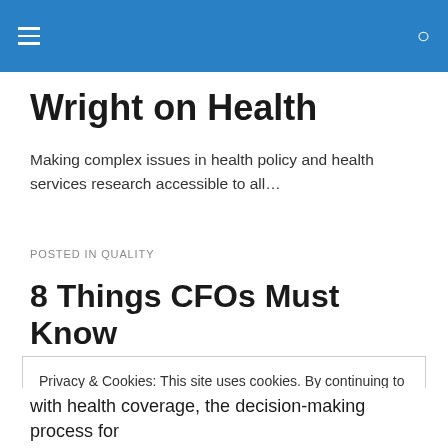Wright on Health
Wright on Health
Making complex issues in health policy and health services research accessible to all…
POSTED IN QUALITY
8 Things CFOs Must Know
Privacy & Cookies: This site uses cookies. By continuing to use this website, you agree to their use.
To find out more, including how to control cookies, see here: Cookie Policy
with health coverage, the decision-making process for